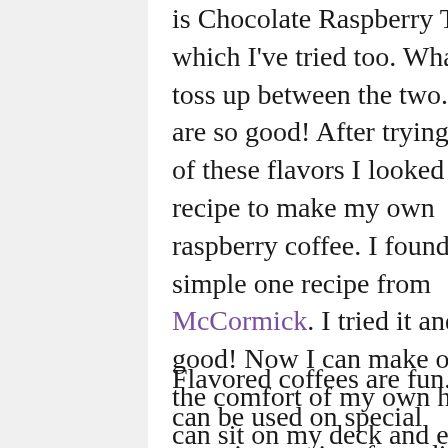is Chocolate Raspberry Truffle which I've tried too. What a toss up between the two. Both are so good! After trying both of these flavors I looked for a recipe to make my own raspberry coffee. I found a very simple one recipe from McCormick. I tried it and it is good! Now I can make own in the comfort of my own home. I can sit on my deck and enjoy it when done.
Flavored coffees are fun. They can be used on special occasions or just for a different change up from your everyday